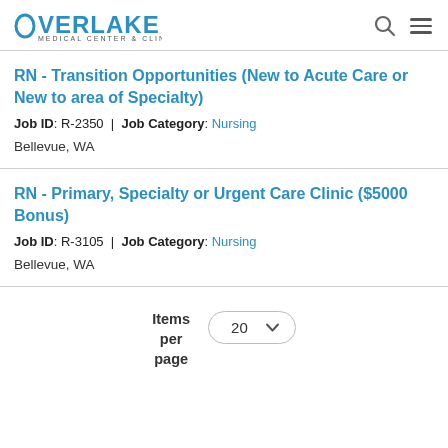OVERLAKE MEDICAL CENTER & CLINICS
RN - Transition Opportunities (New to Acute Care or New to area of Specialty)
Job ID: R-2350 | Job Category: Nursing
Bellevue, WA
RN - Primary, Specialty or Urgent Care Clinic ($5000 Bonus)
Job ID: R-3105 | Job Category: Nursing
Bellevue, WA
Items per page  20